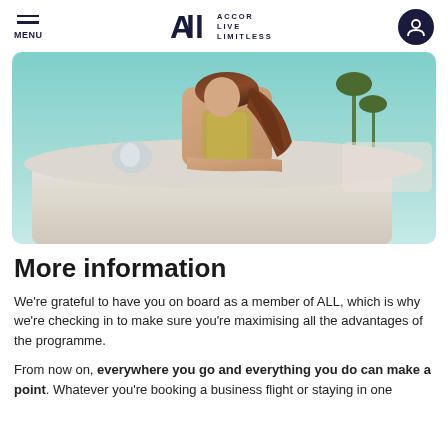MENU | ALL ACCOR LIVE LIMITLESS | Profile icon
[Figure (photo): Woman with long brown hair leaning on a light-colored car, with palm trees and sky in the background. Hero promotional image for ALL - Accor Live Limitless.]
More information
We're grateful to have you on board as a member of ALL, which is why we're checking in to make sure you're maximising all the advantages of the programme.
From now on, everywhere you go and everything you do can make a point. Whatever you're booking a business flight or staying in one